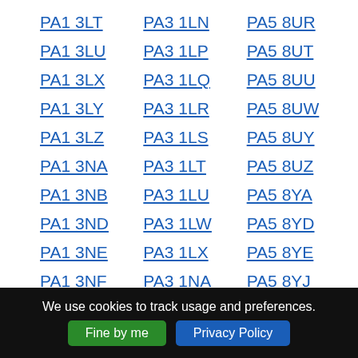PA1 3LT
PA3 1LN
PA5 8UR
PA1 3LU
PA3 1LP
PA5 8UT
PA1 3LX
PA3 1LQ
PA5 8UU
PA1 3LY
PA3 1LR
PA5 8UW
PA1 3LZ
PA3 1LS
PA5 8UY
PA1 3NA
PA3 1LT
PA5 8UZ
PA1 3NB
PA3 1LU
PA5 8YA
PA1 3ND
PA3 1LW
PA5 8YD
PA1 3NE
PA3 1LX
PA5 8YE
PA1 3NF
PA3 1NA
PA5 8YJ
PA1 3NG
PA3 1NB
PA5 8YL
PA1 3NH
PA3 1ND
PA5 8YP
We use cookies to track usage and preferences. Fine by me  Privacy Policy